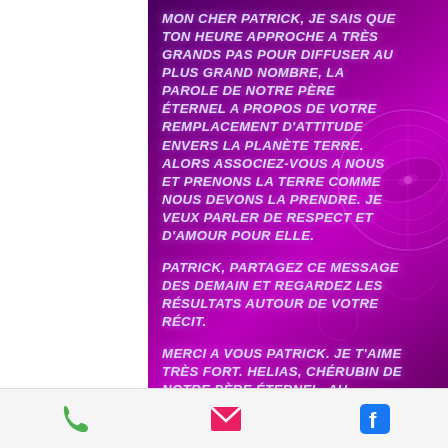MON CHER PATRICK, JE SAIS QUE TON HEURE APPROCHE A TRÈS GRANDS PAS POUR DIFFUSER AU PLUS GRAND NOMBRE, LA PAROLE DE NOTRE PÈRE ÉTERNEL A PROPOS DE VOTRE REMPLACEMENT D'ATTITUDE ENVERS LA PLANÈTE TERRE. ALORS ASSOCIEZ-VOUS A NOUS ET PRENONS LA TERRE COMME NOUS DEVONS LA PRENDRE. JE VEUX PARLER DE RESPECT ET D'AMOUR POUR ELLE.

PATRICK, PARTAGEZ CE MESSAGE DES DEMAIN ET REGARDEZ LES RÉSULTATS AUTOUR DE VOTRE RÉCIT.

MERCI A VOUS PATRICK. JE T'AIME TRÈS FORT. HELIAS, CHÉRUBIN DE NOTRE PÈRE ÉTERNEL. AU REVOIR. A
[phone icon] [mail icon] [facebook icon]